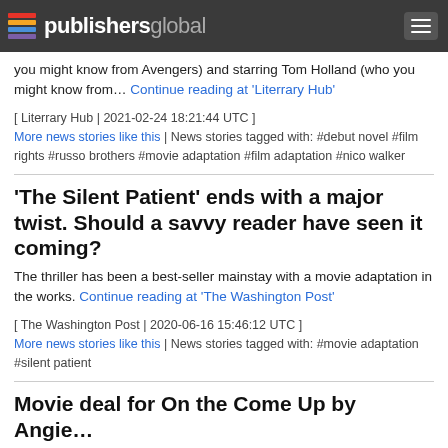publishersglobal
you might know from Avengers) and starring Tom Holland (who you might know from… Continue reading at 'Literrary Hub'
[ Literrary Hub | 2021-02-24 18:21:44 UTC ]
More news stories like this | News stories tagged with: #debut novel #film rights #russo brothers #movie adaptation #film adaptation #nico walker
'The Silent Patient' ends with a major twist. Should a savvy reader have seen it coming?
The thriller has been a best-seller mainstay with a movie adaptation in the works. Continue reading at 'The Washington Post'
[ The Washington Post | 2020-06-16 15:46:12 UTC ]
More news stories like this | News stories tagged with: #movie adaptation #silent patient
Movie deal for On the Come Up by Angie…